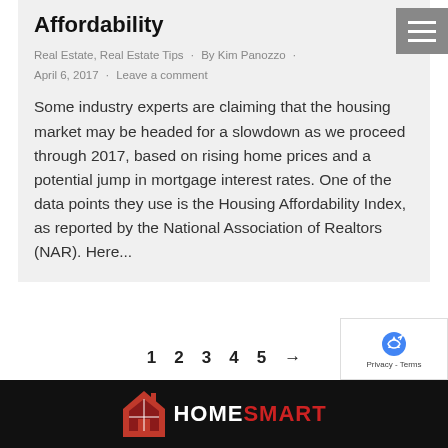Affordability
Real Estate, Real Estate Tips · By Kim Panozzo · April 6, 2017 · Leave a comment
Some industry experts are claiming that the housing market may be headed for a slowdown as we proceed through 2017, based on rising home prices and a potential jump in mortgage interest rates. One of the data points they use is the Housing Affordability Index, as reported by the National Association of Realtors (NAR). Here...
1  2  3  4  5  →
[Figure (logo): HomeSmart logo with red house icon and white/red text on black background]